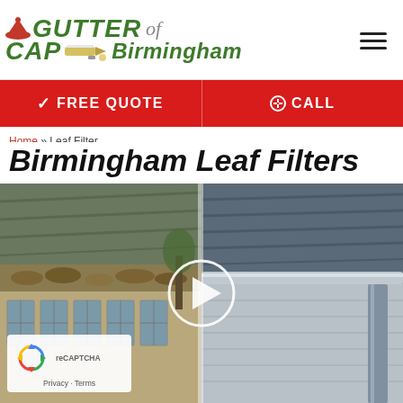[Figure (logo): Gutter Cap of Birmingham logo with hat icon and rocket/gutter image]
[Figure (infographic): Hamburger menu icon (three horizontal lines)]
✓ FREE QUOTE
⊘ CALL
Home » Leaf Filter
Birmingham Leaf Filters
[Figure (photo): Split before/after photo of gutters — left side shows dirty clogged gutter with leaves and debris on a brick house, right side shows clean gutter cap installed. A video play button circle is centered over the split image.]
[Figure (other): Google reCAPTCHA widget overlay in bottom-left of photo with spinning arrows logo and Privacy · Terms links]